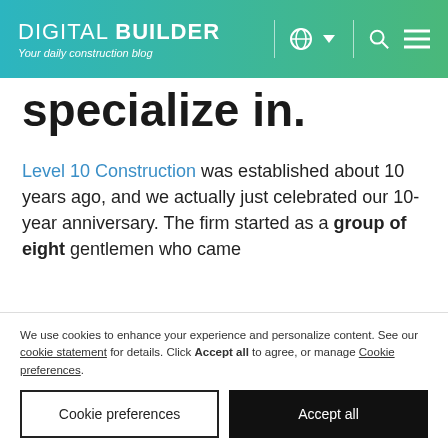DIGITAL BUILDER — Your daily construction blog
specialize in.
Level 10 Construction was established about 10 years ago, and we actually just celebrated our 10-year anniversary. The firm started as a group of eight gentlemen who came
We use cookies to enhance your experience and personalize content. See our cookie statement for details. Click Accept all to agree, or manage Cookie preferences.
Cookie preferences
Accept all